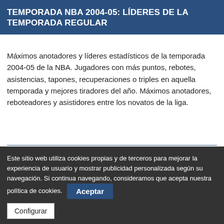TEMPORADA NBA 2004-05: LÍDERES DE LA TEMPORADA REGULAR
Máximos anotadores y líderes estadísticos de la temporada 2004-05 de la NBA. Jugadores con más puntos, rebotes, asistencias, tapones, recuperaciones o triples en aquella temporada y mejores tiradores del año. Máximos anotadores, reboteadores y asistidores entre los novatos de la liga.
Puntos
Rebotes
Este sitio web utiliza cookies propias y de terceros para mejorar la experiencia de usuario y mostrar publicidad personalizada según su navegación. Si continua navegando, consideramos que acepta nuestra política de cookies.